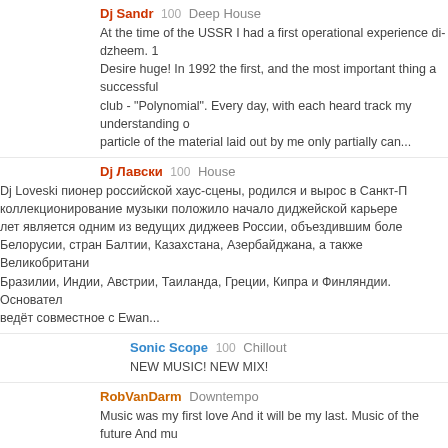Dj Sandr 100 Deep House
At the time of the USSR I had a first operational experience di-dzheem. 1 Desire huge! In 1992 the first, and the most important thing a successful club - "Polynomial". Every day, with each heard track my understanding o particle of the material laid out by me only partially can...
Dj Лавски 100 House
Dj Loveski пионер российской хаус-сцены, родился и вырос в Санкт-П коллекционирование музыки положило начало диджейской карьере лет является одним из ведущих диджеев России, объездившим боле Белорусии, стран Балтии, Казахстана, Азербайджана, а также Великобритани Бразилии, Индии, Австрии, Таиланда, Греции, Кипра и Финляндии. Основател ведёт совместное с Ewan...
Sonic Scope 100 Chillout
NEW MUSIC! NEW MIX!
RobVanDarm Downtempo
Music was my first love And it will be my last. Music of the future And mu
JIN SHI House
- Eclectica Radioshow on Megapolis FM - artist Alfa Future People (AFP) (Globalclubbing)
DJ D.V.A.
DJs 1995